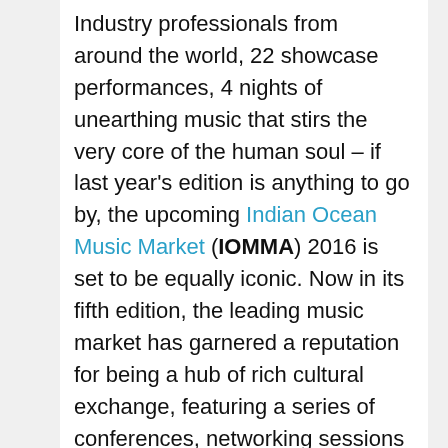Industry professionals from around the world, 22 showcase performances, 4 nights of unearthing music that stirs the very core of the human soul – if last year's edition is anything to go by, the upcoming Indian Ocean Music Market (IOMMA) 2016 is set to be equally iconic. Now in its fifth edition, the leading music market has garnered a reputation for being a hub of rich cultural exchange, featuring a series of conferences, networking sessions between delegates, and vibrant showcase performances taking place from May 30th – June 2nd in Reunion Island.
A longstanding partner and fellow supporter of the arts EarthSync has been working with IOMMA for several years facilitating cultural exchanges between artists of India and Reunion Island. "We see exceptionally talented artists in